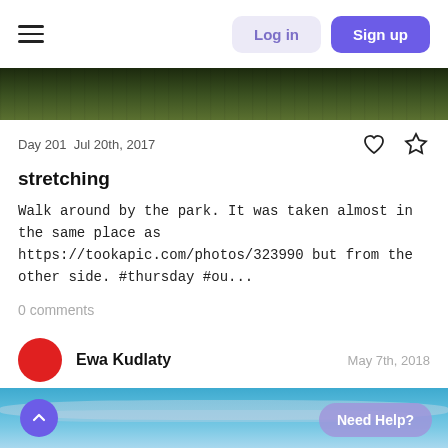Log in | Sign up
[Figure (photo): Top strip showing green foliage/park trees from above]
Day 201  Jul 20th, 2017
stretching
Walk around by the park. It was taken almost in the same place as https://tookapic.com/photos/323990 but from the other side. #thursday #ou...
0 comments
Ewa Kudlaty   May 7th, 2018
[Figure (photo): Bottom strip showing sky with clouds over water]
Need Help?